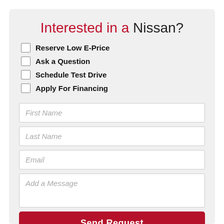Interested in a Nissan?
Reserve Low E-Price
Ask a Question
Schedule Test Drive
Apply For Financing
First Name
Last Name
Email
Add a Message
Send Request